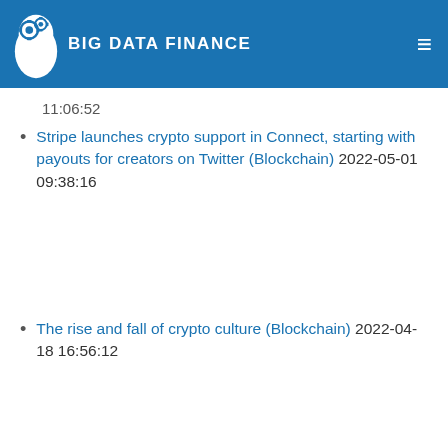BIG DATA FINANCE
11:06:52
Stripe launches crypto support in Connect, starting with payouts for creators on Twitter (Blockchain) 2022-05-01 09:38:16
The rise and fall of crypto culture (Blockchain) 2022-04-18 16:56:12
|  |  |
| --- | --- |
| □□ | 388 |
| □□ | 657 |
| □□ | 3740 |
| □□ | 13717 |